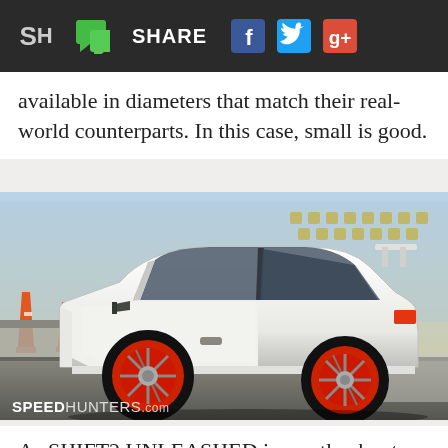SH SHARE [Facebook] [Twitter] [Google+]
available in diameters that match their real-world counterparts. In this case, small is good.
[Figure (photo): A white Toyota AE86 (Corolla Levin/Trueno) with red-accented wheels photographed from the side at a racing venue, with orange cones and barriers in the background. SPEEDHUNTERS.com watermark in the lower left.]
As SHIFT2 UNLEASHED is mostly about closed course racing, we've stayed away from